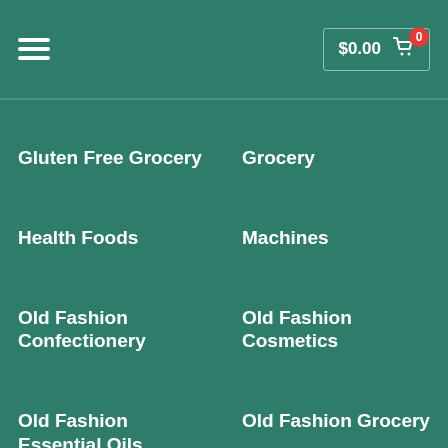$0.00 0
Gluten Free Grocery
Grocery
Health Foods
Machines
Old Fashion Confectionery
Old Fashion Cosmetics
Old Fashion Essential Oils
Old Fashion Grocery